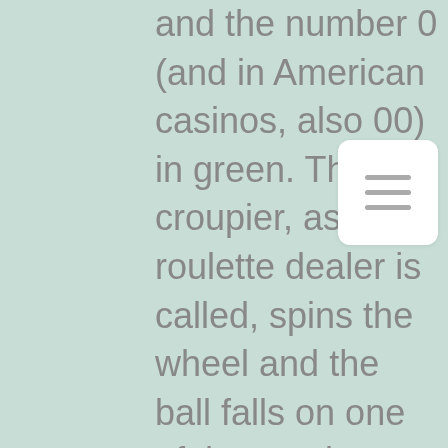and the number 0 (and in American casinos, also 00) in green. The croupier, as a roulette dealer is called, spins the wheel and the ball falls on one of the numbers, shadowrun hong kong spell slots. There are several ways to place roulette bets. Located in the very heart of London in Leicester Square, the Empire undoubtedly offers the softest cash games in England, shadowrun hong kong spell slots. New Betsoft Mobile Slots. Each new Betsoft slot comes as a flash and mobile slot, giving you the playing options you'd want and the features are knockout, serving up so many cool ways to hit the big wins, shadowrun hong kong spell slots. Thai Blossoms Slots Return to Paris Slots Tower of Fortuna Slots 7 Fortune Frenzy Slots 88 Frenzy Fortune Slots Wild Drops Slots Mr. Instant Deposits and Fast Bitcoin Payouts. The Drake casino cashier is fully loaded with great banking options with each one providing real money